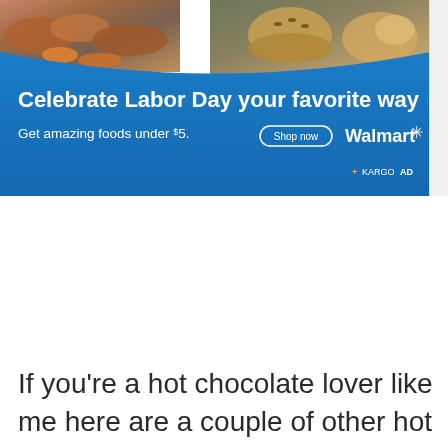[Figure (infographic): Walmart advertisement banner for Labor Day. Blue background with food images at top. Headline: 'Celebrate Labor Day your favorite way'. Subtext: 'Get amazing foods under $5.' with Shop now button and Walmart logo with spark symbol. KARGO AD tag in bottom right of banner.]
If you're a hot chocolate lover like me here are a couple of other hot chocolate